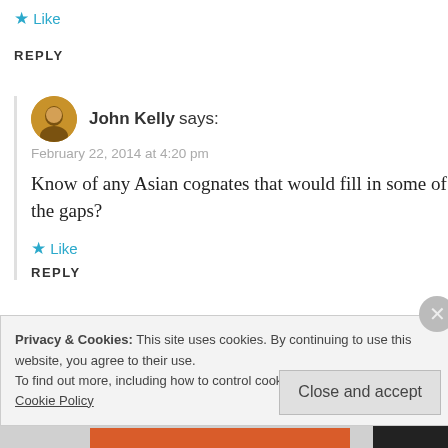★ Like
REPLY
John Kelly says:
February 22, 2014 at 4:20 pm
Know of any Asian cognates that would fill in some of the gaps?
★ Like
REPLY
Privacy & Cookies: This site uses cookies. By continuing to use this website, you agree to their use.
To find out more, including how to control cookies, see here: Cookie Policy
Close and accept